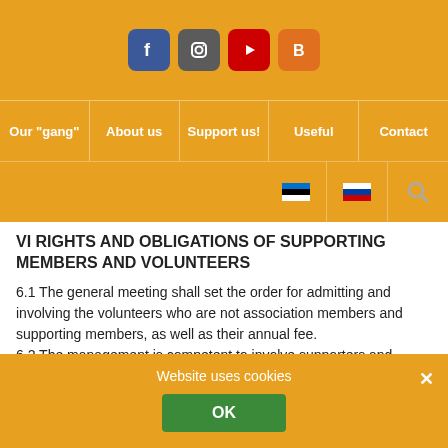[Figure (screenshot): Navigation header with social media icons (Facebook, Instagram, YouTube, Blogger) on orange background]
Our "gang" | About us | Support us! | Useful | Contact
VI RIGHTS AND OBLIGATIONS OF SUPPORTING MEMBERS AND VOLUNTEERS
6.1 The general meeting shall set the order for admitting and involving the volunteers who are not association members and supporting members, as well as their annual fee.
6.2 The management is competent to involve supporters and volunteers who are not association members, and
Website uses cookies